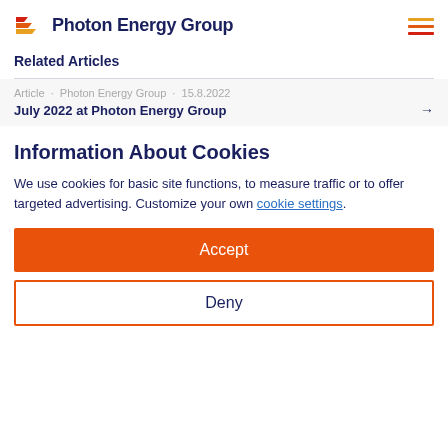Photon Energy Group
Related Articles
Article · Photon Energy Group · 15.8.2022
July 2022 at Photon Energy Group →
Information About Cookies
We use cookies for basic site functions, to measure traffic or to offer targeted advertising. Customize your own cookie settings.
Accept
Deny